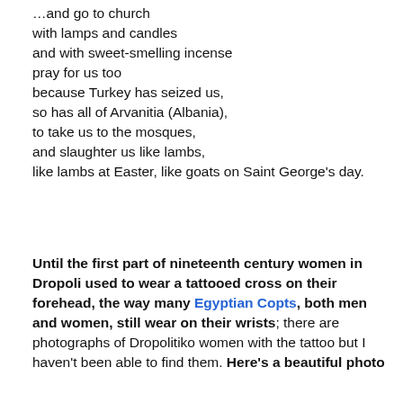…and go to church
with lamps and candles
and with sweet-smelling incense
pray for us too
because Turkey has seized us,
so has all of Arvanitia (Albania),
to take us to the mosques,
and slaughter us like lambs,
like lambs at Easter, like goats on Saint George's day.
Until the first part of nineteenth century women in Dropoli used to wear a tattooed cross on their forehead, the way many Egyptian Copts, both men and women, still wear on their wrists; there are photographs of Dropolitiko women with the tattoo but I haven't been able to find them. Here's a beautiful photo